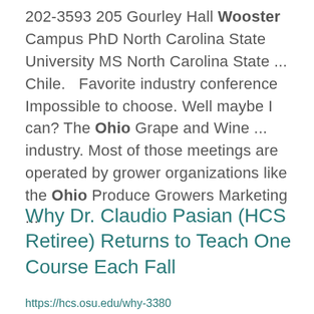202-3593 205 Gourley Hall Wooster Campus PhD North Carolina State University MS North Carolina State ... Chile.   Favorite industry conference Impossible to choose. Well maybe I can? The Ohio Grape and Wine ... industry. Most of those meetings are operated by grower organizations like the Ohio Produce Growers Marketing ...
Why Dr. Claudio Pasian (HCS Retiree) Returns to Teach One Course Each Fall
https://hcs.osu.edu/why-3380